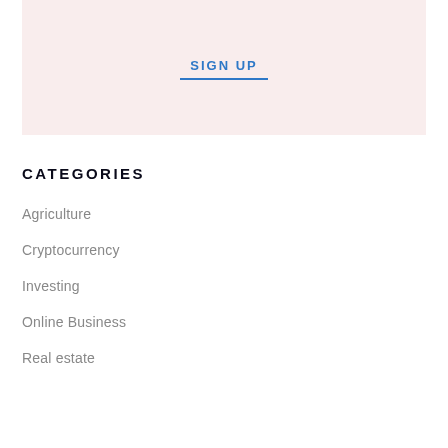SIGN UP
CATEGORIES
Agriculture
Cryptocurrency
Investing
Online Business
Real estate